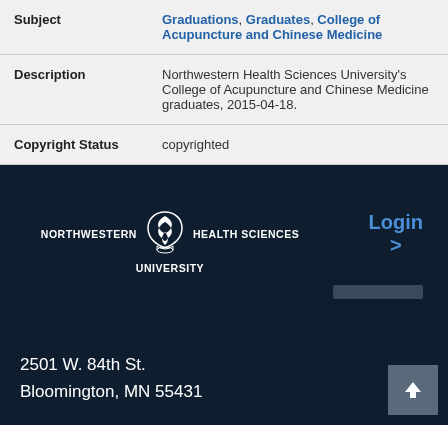| Field | Value |
| --- | --- |
| Subject | Graduations, Graduates, College of Acupuncture and Chinese Medicine |
| Description | Northwestern Health Sciences University's College of Acupuncture and Chinese Medicine graduates, 2015-04-18. |
| Copyright Status | copyrighted |
[Figure (logo): Northwestern Health Sciences University logo with tree emblem]
Login >
2501 W. 84th St.
Bloomington, MN 55431